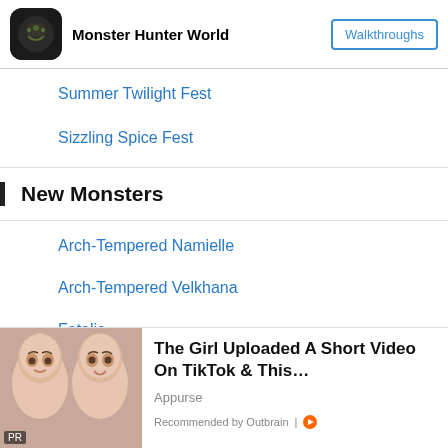Monster Hunter World | Walkthroughs
Summer Twilight Fest
Sizzling Spice Fest
New Monsters
Arch-Tempered Namielle
Arch-Tempered Velkhana
Fatalis
[Figure (photo): Advertisement photo of a girl with two faces side by side. PR badge in bottom left corner. Ad title: The Girl Uploaded A Short Video On TikTok & This... Source: Appurse. Recommended by Outbrain.]